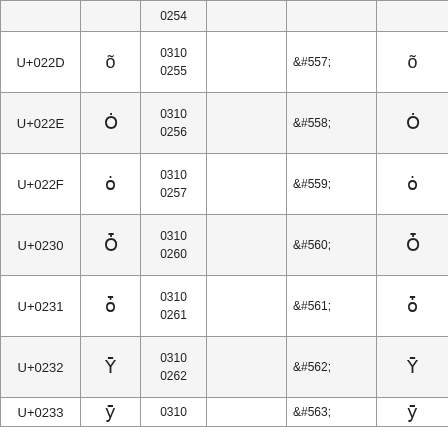| Unicode | Char | Octal |  | HTML Entity | Char |
| --- | --- | --- | --- | --- | --- |
|  |  | 0254 |  |  |  |
| U+022D | õ | 0310
0255 |  | &#557; | õ |
| U+022E | Ȯ | 0310
0256 |  | &#558; | Ȯ |
| U+022F | ȯ | 0310
0257 |  | &#559; | ȯ |
| U+0230 | Ȱ | 0310
0260 |  | &#560; | Ȱ |
| U+0231 | ȱ | 0310
0261 |  | &#561; | ȱ |
| U+0232 | Ȳ | 0310
0262 |  | &#562; | Ȳ |
| U+0233 | ȳ | 0310 |  | &#563; | ȳ |